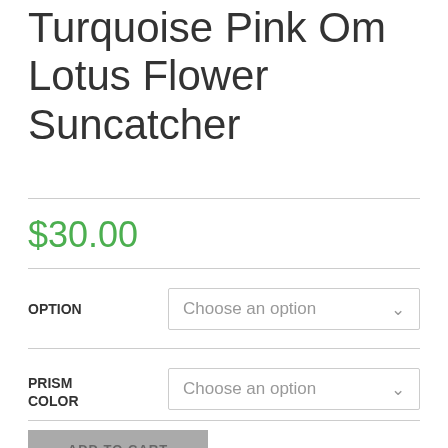Turquoise Pink Om Lotus Flower Suncatcher
$30.00
OPTION — Choose an option
PRISM COLOR — Choose an option
ADD TO CART